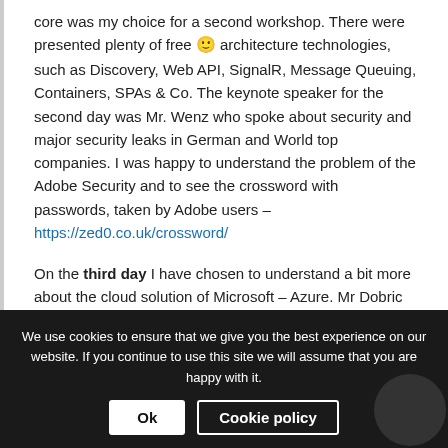core was my choice for a second workshop. There were presented plenty of free 🙂 architecture technologies, such as Discovery, Web API, SignalR, Message Queuing, Containers, SPAs & Co. The keynote speaker for the second day was Mr. Wenz who spoke about security and major security leaks in German and World top companies. I was happy to understand the problem of the Adobe Security and to see the crossword with passwords, taken by Adobe users – https://zed0.co.uk/crossword/
On the third day I have chosen to understand a bit more about the cloud solution of Microsoft – Azure. Mr Dobric has shown the possibilities of the cloud platform and has made one step-by-step workshop.
We use cookies to ensure that we give you the best experience on our website. If you continue to use this site we will assume that you are happy with it.
Ok | Cookie policy